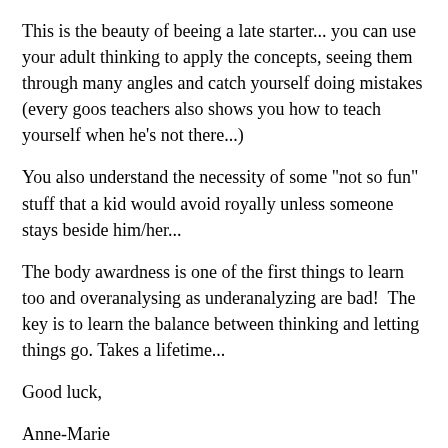This is the beauty of beeing a late starter... you can use your adult thinking to apply the concepts, seeing them through many angles and catch yourself doing mistakes (every goos teachers also shows you how to teach yourself when he's not there...)
You also understand the necessity of some "not so fun" stuff that a kid would avoid royally unless someone stays beside him/her...
The body awardness is one of the first things to learn too and overanalysing as underanalyzing are bad!  The key is to learn the balance between thinking and letting things go. Takes a lifetime...
Good luck,
Anne-Marie
From Samuel Thompson
Posted on April 9, 2010 at 12:28 AM